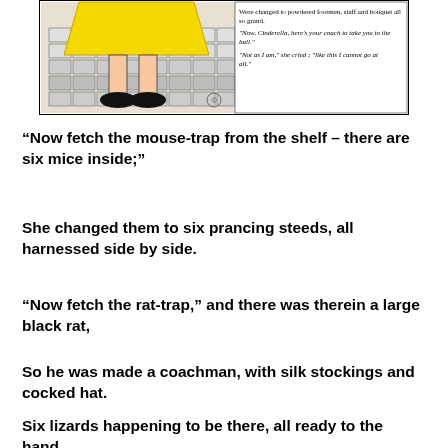[Figure (illustration): Comic-style illustration showing Cinderella's feet in black shoes on a brick/cobblestone pattern floor, with yellow dress visible. On the right side, text panels with dialogue: 'Were changed to powdered footmen, staff and bouquet all so grand.', '"Now, Cinderella, here's your coach to take you to the ball."', '"Not as I am," she cried; "like this I cannot go at all."']
“Now fetch the mouse-trap from the shelf – there are six mice inside;”
She changed them to six prancing steeds, all harnessed side by side.
“Now fetch the rat-trap,” and there was therein a large black rat,
So he was made a coachman, with silk stockings and cocked hat.
Six lizards happening to be there, all ready to the hand,
Were changed to powdered footmen, staff and bouquet all so grand.